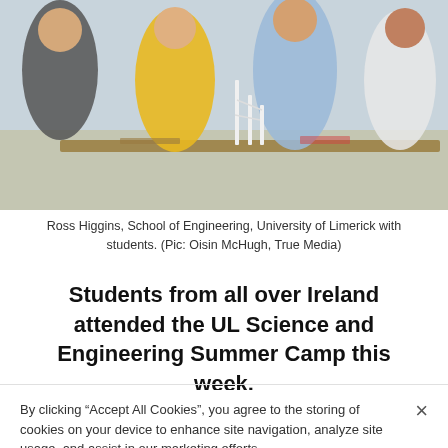[Figure (photo): Students and instructor working on an engineering model (wind turbine structure) at a table in a bright workshop/lab space. Ross Higgins, School of Engineering, University of Limerick with students.]
Ross Higgins, School of Engineering, University of Limerick with students. (Pic: Oisin McHugh, True Media)
Students from all over Ireland attended the UL Science and Engineering Summer Camp this week.
By clicking “Accept All Cookies”, you agree to the storing of cookies on your device to enhance site navigation, analyze site usage, and assist in our marketing efforts.